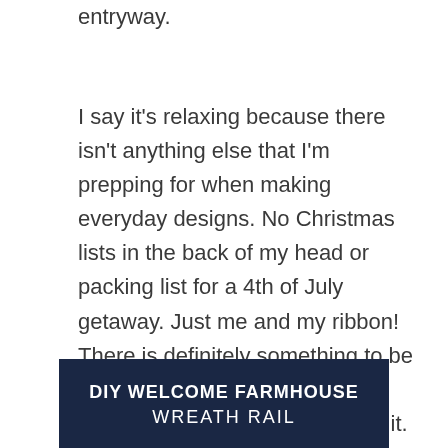entryway.
I say it's relaxing because there isn't anything else that I'm prepping for when making everyday designs. No Christmas lists in the back of my head or packing list for a 4th of July getaway. Just me and my ribbon! There is definitely something to be said for the routine of the everyday, as well as crafting for it.
DIY WELCOME FARMHOUSE WREATH RAIL